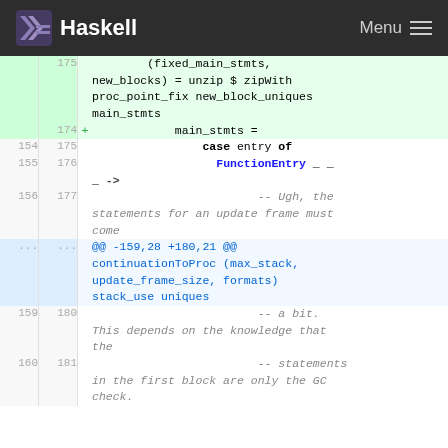Haskell  Menu
[Figure (screenshot): Code diff view showing Haskell source changes. Lines 175-181 with old/new line numbers, additions and context lines showing a diff of a Haskell file with case expression, FunctionEntry pattern, and comments about update frame statements.]